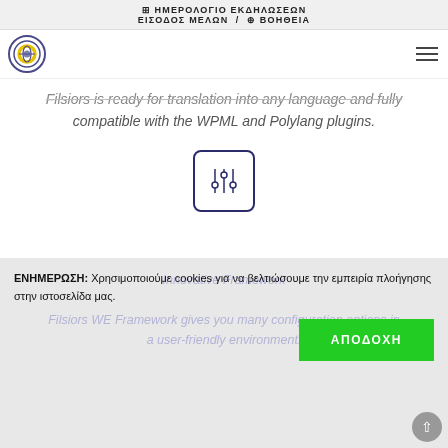📅 ΗΜΕΡΟΛΟΓΙΟ ΕΚΔΗΛΩΣΕΩΝ ΕΙΣΟΔΟΣ ΜΕΛΩΝ / 🌐 ΒΟΗΘΕΙΑ
[Figure (logo): Organization logo - circular emblem with brain/globe icon in purple/yellow]
Filsiors is ready for translation into any language and fully compatible with the WPML and Polylang plugins.
[Figure (illustration): Settings/sliders icon inside a rounded square border]
Innovative Framework
Filsiors WE Framework gives you many configuration options in a user-friendly environment.
ΕΝΗΜΕΡΩΣΗ: Χρησιμοποιούμε cookies για να βελτιώσουμε την εμπειρία πλοήγησης στην ιστοσελίδα μας.
ΑΠΟΔΟΧΗ